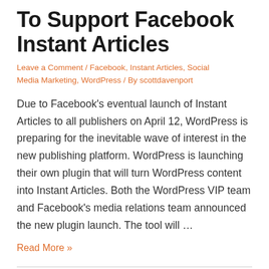To Support Facebook Instant Articles
Leave a Comment / Facebook, Instant Articles, Social Media Marketing, WordPress / By scottdavenport
Due to Facebook's eventual launch of Instant Articles to all publishers on April 12, WordPress is preparing for the inevitable wave of interest in the new publishing platform.  WordPress is launching their own plugin that will turn WordPress content into Instant Articles.  Both the WordPress VIP team and Facebook's media relations team announced the new plugin launch.  The tool will …
Read More »
Facebook Rolls Out Instant Articles To All Publishers At